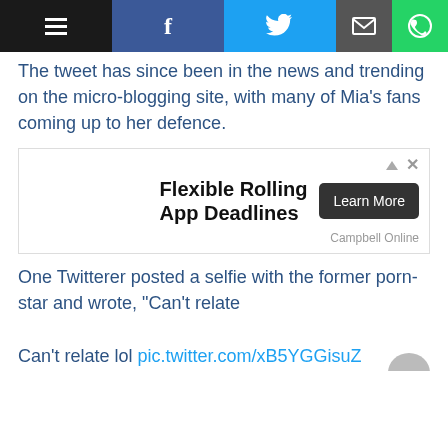[Navigation bar with menu, Facebook, Twitter, Email, WhatsApp icons]
The tweet has since been in the news and trending on the micro-blogging site, with many of Mia's fans coming up to her defence.
[Figure (other): Advertisement banner: 'Flexible Rolling App Deadlines' by Campbell Online with a 'Learn More' button]
One Twitterer posted a selfie with the former porn-star and wrote, "Can't relate

Can't relate lol pic.twitter.com/xB5YGGisuZ